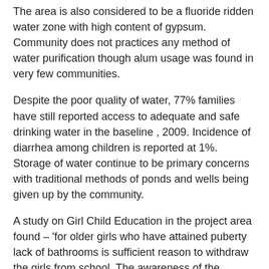The area is also considered to be a fluoride ridden water zone with high content of gypsum. Community does not practices any method of water purification though alum usage was found in very few communities.
Despite the poor quality of water, 77% families have still reported access to adequate and safe drinking water in the baseline , 2009. Incidence of diarrhea among children is reported at 1%. Storage of water continue to be primary concerns with traditional methods of ponds and wells being given up by the community.
A study on Girl Child Education in the project area found – 'for older girls who have attained puberty lack of bathrooms is sufficient reason to withdraw the girls from school. The awareness of the community on good hygienic practices and the adoption of the same is very low and the practice of open defecation in the rural areas results in only 6% families disposing off